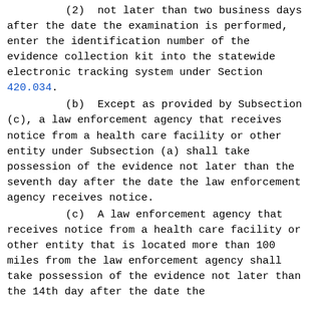(2)  not later than two business days after the date the examination is performed, enter the identification number of the evidence collection kit into the statewide electronic tracking system under Section 420.034.
(b)  Except as provided by Subsection (c), a law enforcement agency that receives notice from a health care facility or other entity under Subsection (a) shall take possession of the evidence not later than the seventh day after the date the law enforcement agency receives notice.
(c)  A law enforcement agency that receives notice from a health care facility or other entity that is located more than 100 miles from the law enforcement agency shall take possession of the evidence not later than the 14th day after the date the